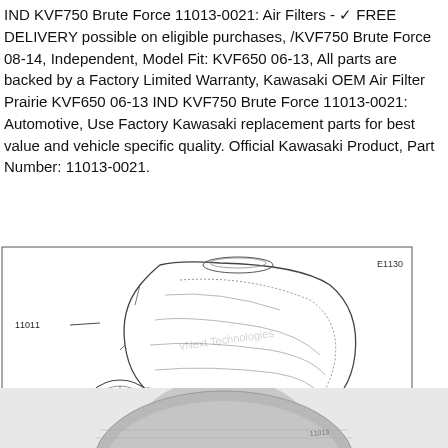IND KVF750 Brute Force 11013-0021: Air Filters - ✓ FREE DELIVERY possible on eligible purchases, /KVF750 Brute Force 08-14, Independent, Model Fit: KVF650 06-13, All parts are backed by a Factory Limited Warranty, Kawasaki OEM Air Filter Prairie KVF650 06-13 IND KVF750 Brute Force 11013-0021: Automotive, Use Factory Kawasaki replacement parts for best value and vehicle specific quality. Official Kawasaki Product, Part Number: 11013-0021.
[Figure (engineering-diagram): Exploded engineering diagram of a Kawasaki air filter assembly showing parts labeled 11011 (air filter housing/box), 92172 (screw/bolt), and 14091 (circular air filter element). Label E1130 appears in upper right of diagram. Watermark text 'vNext Technologies' overlaid. Parts shown exploded apart with lines indicating assembly relationship.]
[Figure (photo): Partial photo of a circular air filter element (round disc shape), gray/silver colored, viewed from above, partially cropped at bottom of page.]